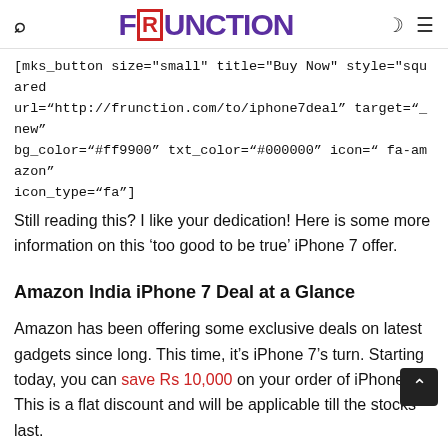FRUNCTION (logo)
[mks_button size="small" title="Buy Now" style="squared url="http://frunction.com/to/iphone7deal" target="_new" bg_color="#ff9900" txt_color="#000000" icon=" fa-amazon" icon_type="fa"]
Still reading this? I like your dedication! Here is some more information on this 'too good to be true' iPhone 7 offer.
Amazon India iPhone 7 Deal at a Glance
Amazon has been offering some exclusive deals on latest gadgets since long. This time, it’s iPhone 7’s turn. Starting today, you can save Rs 10,000 on your order of iPhone 7. This is a flat discount and will be applicable till the stocks last.
You should note that this offer is exclusive to Amazon India